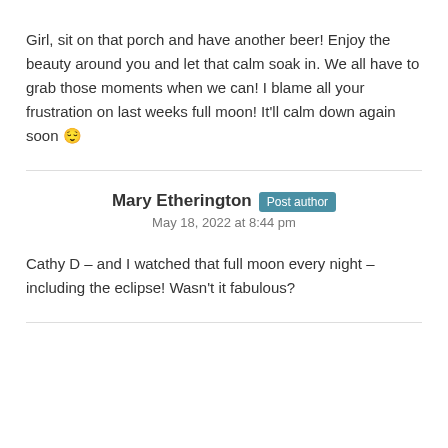Girl, sit on that porch and have another beer! Enjoy the beauty around you and let that calm soak in. We all have to grab those moments when we can! I blame all your frustration on last weeks full moon! It'll calm down again soon 😌
Mary Etherington Post author
May 18, 2022 at 8:44 pm
Cathy D – and I watched that full moon every night – including the eclipse! Wasn't it fabulous?